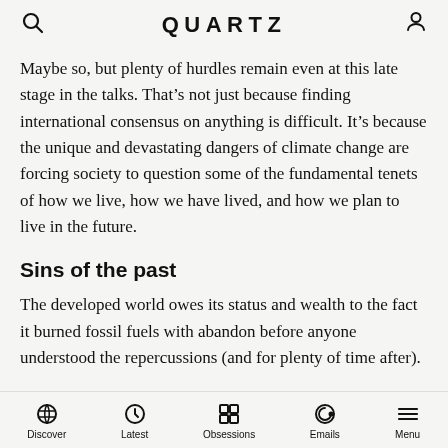QUARTZ
Maybe so, but plenty of hurdles remain even at this late stage in the talks. That’s not just because finding international consensus on anything is difficult. It’s because the unique and devastating dangers of climate change are forcing society to question some of the fundamental tenets of how we live, how we have lived, and how we plan to live in the future.
Sins of the past
The developed world owes its status and wealth to the fact it burned fossil fuels with abandon before anyone understood the repercussions (and for plenty of time after).
Discover   Latest   Obsessions   Emails   Menu